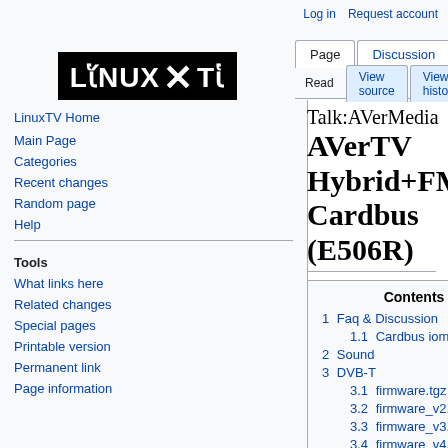Log in  Request account
[Figure (logo): LinuxTV logo — white text on black background showing 'LINUX TV' with stylized characters]
Talk:AVerMedia AVerTV Hybrid+FM Cardbus (E506R)
1 Faq & Discussion
1.1 Cardbus iomem
2 Sound
3 DVB-T
3.1 firmware.tgz
3.2 firmware_v2.tgz
3.3 firmware_v3.tgz
3.4 firmware_v4.tgz
LinuxTV Home
Main Page
Categories
Recent changes
Random page
Help
Tools
What links here
Related changes
Special pages
Printable version
Permanent link
Page information